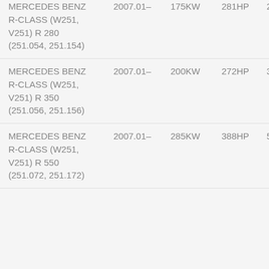| Model | Year | KW | HP | Num |
| --- | --- | --- | --- | --- |
| MERCEDES BENZ R-CLASS (W251, V251) R 280 (251.054, 251.154) | 2007.01– | 175KW | 281HP | 20 |
| MERCEDES BENZ R-CLASS (W251, V251) R 350 (251.056, 251.156) | 2007.01– | 200KW | 272HP | 34 |
| MERCEDES BENZ R-CLASS (W251, V251) R 550 (251.072, 251.172) | 2007.01– | 285KW | 388HP | 54 |